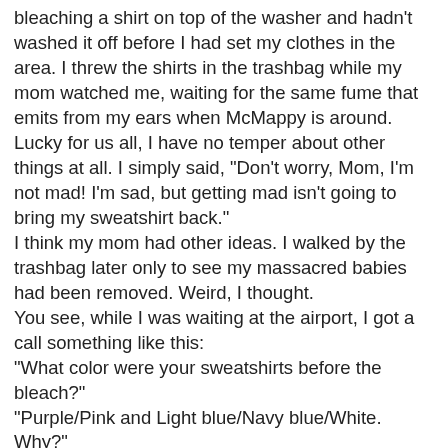bleaching a shirt on top of the washer and hadn't washed it off before I had set my clothes in the area. I threw the shirts in the trashbag while my mom watched me, waiting for the same fume that emits from my ears when McMappy is around. Lucky for us all, I have no temper about other things at all. I simply said, "Don't worry, Mom, I'm not mad! I'm sad, but getting mad isn't going to bring my sweatshirt back." I think my mom had other ideas. I walked by the trashbag later only to see my massacred babies had been removed. Weird, I thought.
You see, while I was waiting at the airport, I got a call something like this:
"What color were your sweatshirts before the bleach?"
"Purple/Pink and Light blue/Navy blue/White. Why?"
"Well, now we have a Pink/Pink and a light blue/lighter blue/white."
"What???" (confusion here)
"Well, I wanted to see if I soaked the whole shirt in bleach if it would do anything. I don't think they look bad, the blue one actually still looks cute."
"You bleached them again?!?"
Well, yeah, I mean, since you were going to throw them away, I figured it couldn't hurt to try."